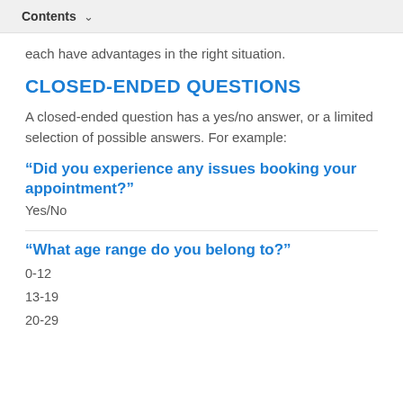Contents
each have advantages in the right situation.
CLOSED-ENDED QUESTIONS
A closed-ended question has a yes/no answer, or a limited selection of possible answers. For example:
“Did you experience any issues booking your appointment?”
Yes/No
“What age range do you belong to?”
0-12
13-19
20-29